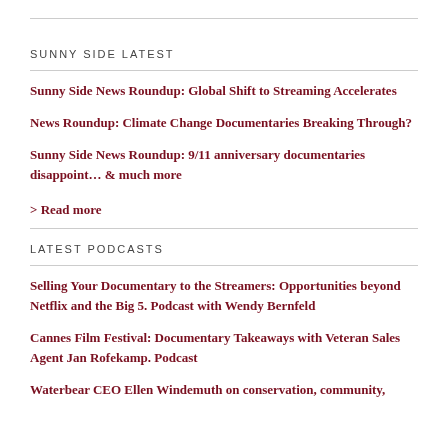SUNNY SIDE LATEST
Sunny Side News Roundup: Global Shift to Streaming Accelerates
News Roundup: Climate Change Documentaries Breaking Through?
Sunny Side News Roundup: 9/11 anniversary documentaries disappoint… & much more
> Read more
LATEST PODCASTS
Selling Your Documentary to the Streamers: Opportunities beyond Netflix and the Big 5. Podcast with Wendy Bernfeld
Cannes Film Festival: Documentary Takeaways with Veteran Sales Agent Jan Rofekamp. Podcast
Waterbear CEO Ellen Windemuth on conservation, community,